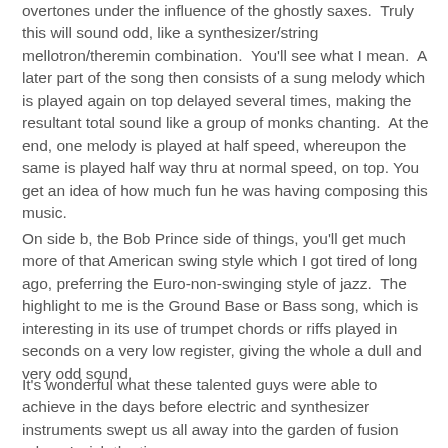overtones under the influence of the ghostly saxes.  Truly this will sound odd, like a synthesizer/string mellotron/theremin combination.  You'll see what I mean.  A later part of the song then consists of a sung melody which is played again on top delayed several times, making the resultant total sound like a group of monks chanting.  At the end, one melody is played at half speed, whereupon the same is played half way thru at normal speed, on top. You get an idea of how much fun he was having composing this music.
On side b, the Bob Prince side of things, you'll get much more of that American swing style which I got tired of long ago, preferring the Euro-non-swinging style of jazz.  The highlight to me is the Ground Base or Bass song, which is interesting in its use of trumpet chords or riffs played in seconds on a very low register, giving the whole a dull and very odd sound.
It's wonderful what these talented guys were able to achieve in the days before electric and synthesizer instruments swept us all away into the garden of fusion eden.  I wish the time